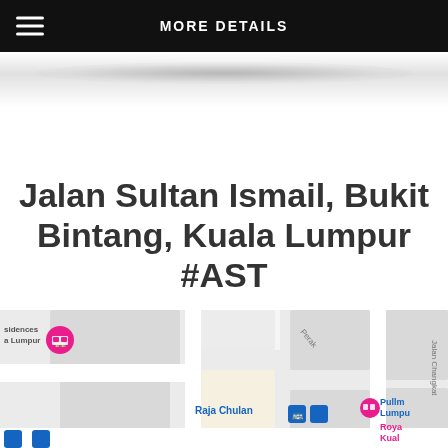MORE DETAILS
Jalan Sultan Ismail, Bukit Bintang, Kuala Lumpur #AST
[Figure (map): Google Maps screenshot showing the area around Jalan Sultan Ismail, Bukit Bintang, Kuala Lumpur. Visible labels include Raja Chulan (transit station), Pullman Lumpur, Royal Kual, Jalan Changkat, and residences icons. Pink map pins and blue bus icons visible.]